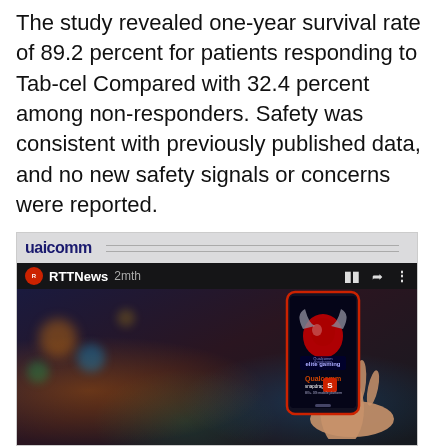The study revealed one-year survival rate of 89.2 percent for patients responding to Tab-cel Compared with 32.4 percent among non-responders. Safety was consistent with previously published data, and no new safety signals or concerns were reported.
[Figure (screenshot): Screenshot of a RTTNews video thumbnail showing a Qualcomm Snapdragon elite gaming advertisement with a hand holding a smartphone displaying the Qualcomm logo and branding. The top bar shows 'qualcomm' branding and the video metadata shows 'RTTNews 2mth'.]